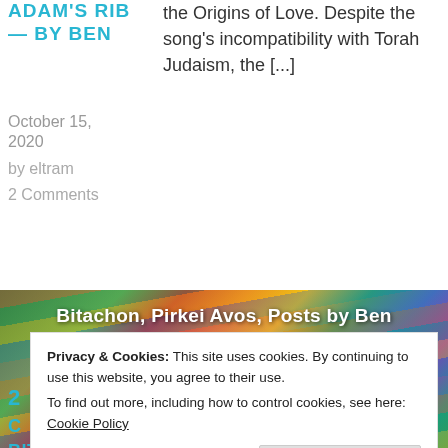ADAM'S RIB — BY BEN
October 15, 2020
by eltram
2 Comments
the Origins of Love. Despite the song's incompatibility with Torah Judaism, the [...]
[Figure (photo): Colorful mosaic staircase with text overlay: Bitachon, Pirkei Avos, Posts by Ben]
Bitachon, Pirkei Avos, Posts by Ben
Privacy & Cookies: This site uses cookies. By continuing to use this website, you agree to their use.
To find out more, including how to control cookies, see here: Cookie Policy
Close and accept
HaLevavos (in English – Duties of the
BITACHON